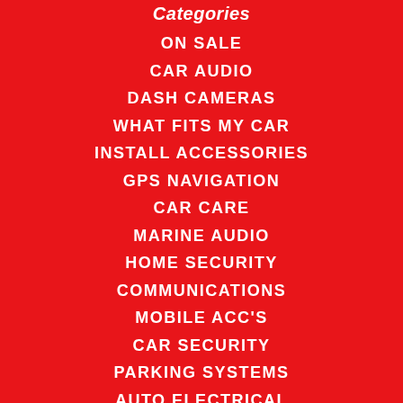Categories
ON SALE
CAR AUDIO
DASH CAMERAS
WHAT FITS MY CAR
INSTALL ACCESSORIES
GPS NAVIGATION
CAR CARE
MARINE AUDIO
HOME SECURITY
COMMUNICATIONS
MOBILE ACC'S
CAR SECURITY
PARKING SYSTEMS
AUTO ELECTRICAL